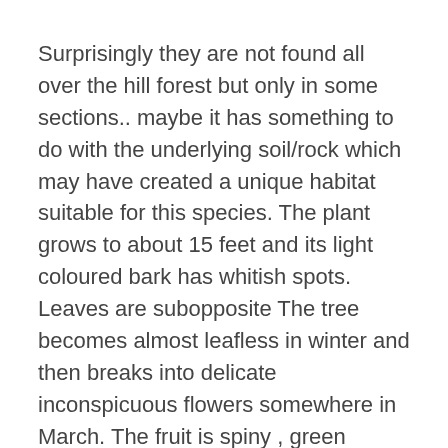Surprisingly they are not found all over the hill forest but only in some sections.. maybe it has something to do with the underlying soil/rock which may have created a unique habitat suitable for this species. The plant grows to about 15 feet and its light coloured bark has whitish spots. Leaves are subopposite The tree becomes almost leafless in winter and then breaks into delicate inconspicuous flowers somewhere in March. The fruit is spiny , green initially and turns brownish red later.